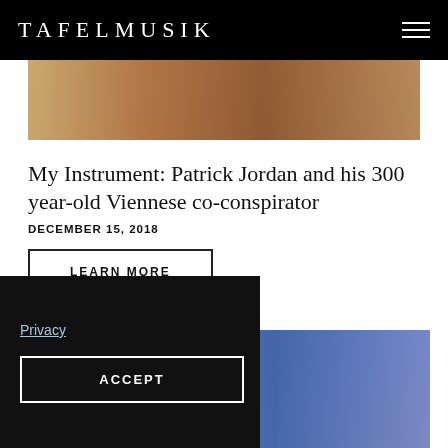TAFELMUSIK
[Figure (photo): Close-up photo of a violin body, showing warm brown wood tones]
My Instrument: Patrick Jordan and his 300 year-old Viennese co-conspirator
DECEMBER 15, 2018
LEARN MORE
Privacy
ACCEPT
[Figure (photo): Photo of music stands or instrument cases arranged on shelves, with blue and beige colors]